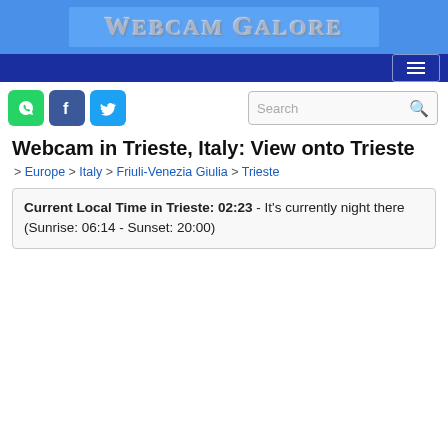Webcam Galore
Webcam in Trieste, Italy: View onto Trieste
> Europe > Italy > Friuli-Venezia Giulia > Trieste
Current Local Time in Trieste: 02:23 - It's currently night there (Sunrise: 06:14 - Sunset: 20:00)